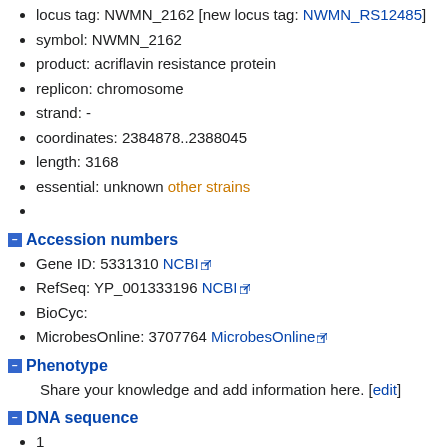locus tag: NWMN_2162 [new locus tag: NWMN_RS12485]
symbol: NWMN_2162
product: acriflavin resistance protein
replicon: chromosome
strand: -
coordinates: 2384878..2388045
length: 3168
essential: unknown other strains
Accession numbers
Gene ID: 5331310 NCBI
RefSeq: YP_001333196 NCBI
BioCyc:
MicrobesOnline: 3707764 MicrobesOnline
Phenotype
Share your knowledge and add information here. [edit]
DNA sequence
1
61
121
181
241